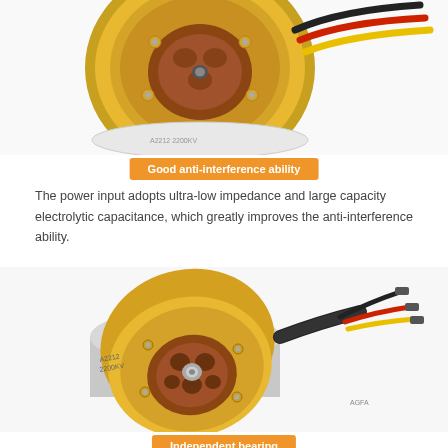[Figure (photo): Close-up top view of a gold and silver brushless motor (A2212 2200KV) with red, black and yellow wires coming out from the top right]
Good anti-interference ability
The power input adopts ultra-low impedance and large capacity electrolytic capacitance, which greatly improves the anti-interference ability.
[Figure (photo): Angled side view of a gold and silver brushless motor (A2212 2200KV) showing the front face with copper coils visible through openings, with black, red, yellow wires connected via bullet connectors]
Independent bearing